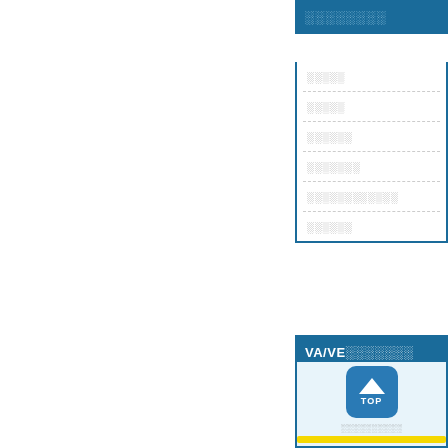░░░░░░░░
░░░░░
░░░░░
░░░░░░
░░░░░░░
░░░░░░░░░░░░
░░░░░░
VA/VE░░░░░░░
[Figure (other): TOP navigation button with upward arrow and barcode-style text below, yellow bar at bottom, light blue background panel]